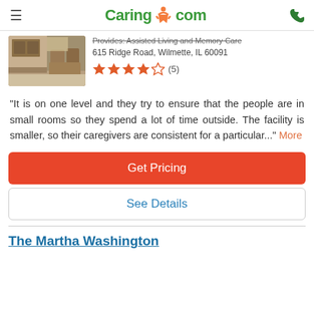Caring.com
[Figure (photo): Interior photo of a dining area with wooden furniture and cabinets]
Provides: Assisted Living and Memory Care
615 Ridge Road, Wilmette, IL 60091
4.5 stars (5)
"It is on one level and they try to ensure that the people are in small rooms so they spend a lot of time outside. The facility is smaller, so their caregivers are consistent for a particular..." More
Get Pricing
See Details
The Martha Washington